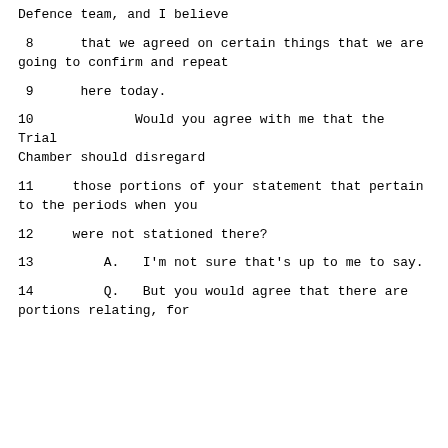Defence team, and I believe
8      that we agreed on certain things that we are going to confirm and repeat
9      here today.
10             Would you agree with me that the Trial Chamber should disregard
11     those portions of your statement that pertain to the periods when you
12     were not stationed there?
13         A.   I'm not sure that's up to me to say.
14         Q.   But you would agree that there are portions relating, for